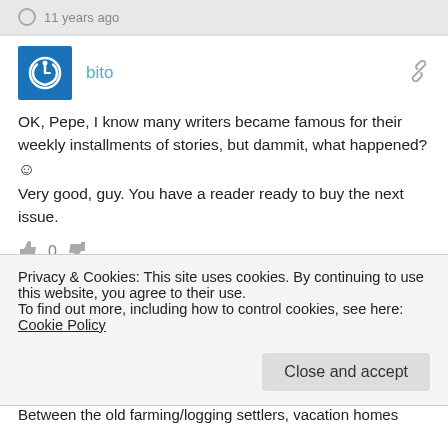11 years ago
bito
OK, Pepe, I know many writers became famous for their weekly installments of stories, but dammit, what happened? 🙂
Very good, guy. You have a reader ready to buy the next issue.
0
11 years ago
Privacy & Cookies: This site uses cookies. By continuing to use this website, you agree to their use.
To find out more, including how to control cookies, see here: Cookie Policy
Close and accept
Between the old farming/logging settlers, vacation homes